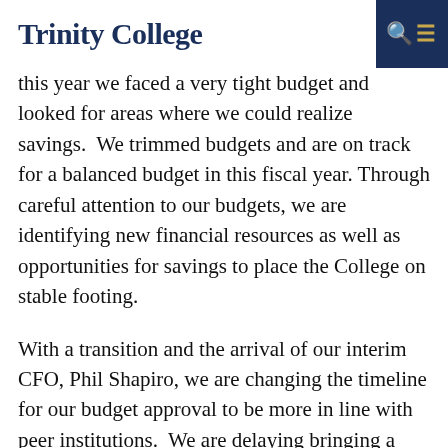Trinity College
this year we faced a very tight budget and looked for areas where we could realize savings.  We trimmed budgets and are on track for a balanced budget in this fiscal year.  Through careful attention to our budgets, we are identifying new financial resources as well as opportunities for savings to place the College on stable footing.
With a transition and the arrival of our interim CFO, Phil Shapiro, we are changing the timeline for our budget approval to be more in line with peer institutions.  We are delaying bringing a budget to the trustees until April or May, as we allow Phil an opportunity to learn the complexities of our financial endeavors.